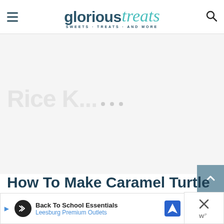glorioustreats — SWEETS · TREATS · AND MORE
[Figure (other): Large blank/loading content area with three small gray dots indicating a loading placeholder or advertisement space]
How To Make Caramel Turtle Rice Krispies Treats
[Figure (other): Advertisement banner: Back To School Essentials — Leesburg Premium Outlets, with a navigation/map icon]
[Figure (other): Close (X) button for the advertisement banner, with a 'w' watermark icon below]